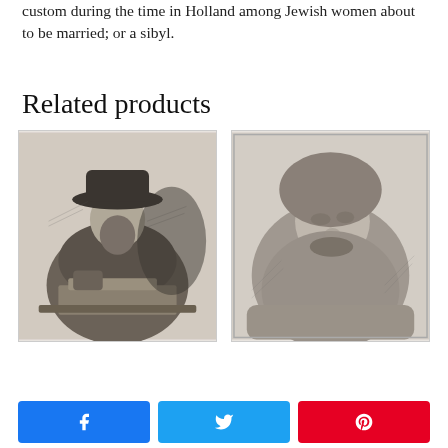custom during the time in Holland among Jewish women about to be married; or a sibyl.
Related products
[Figure (illustration): Etching of a bearded man wearing a wide-brimmed hat and fur-trimmed robe, seated at a table with open books, possibly a scholar or rabbi.]
[Figure (illustration): Etching portrait of an elderly bearded man with large flowing white beard and hair, close-up bust view, possibly by Rembrandt.]
[Figure (other): Social sharing buttons row: Facebook (blue), Twitter (blue), Pinterest (red)]